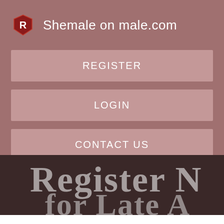Shemale on male.com
REGISTER
LOGIN
CONTACT US
[Figure (screenshot): Partial screenshot showing large text 'Register N' and below it partial text in a dark brownish background, representing website content below the navigation menu.]